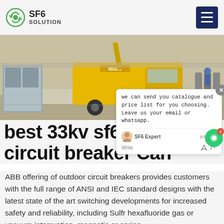SF6 SOLUTION
[Figure (photo): Outdoor industrial site with yellow ISUZU truck and workers near electrical equipment and cylinders]
we can send you catalogue and price list for you choosing. Leave us your email or whatsapp. SF6 Expert  just now  Write
best 33kv sf6 outdoor circuit breaker Can
ABB offering of outdoor circuit breakers provides customers with the full range of ANSI and IEC standard designs with the latest state of the art switching developments for increased safety and reliability, including Sulfr hexafluoride gas or vacuum interruption, magnetic or spring